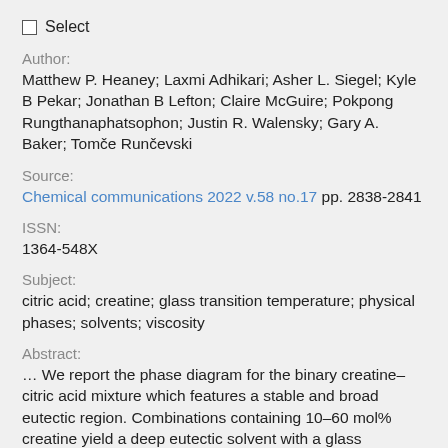Select
Author:
Matthew P. Heaney; Laxmi Adhikari; Asher L. Siegel; Kyle B Pekar; Jonathan B Lefton; Claire McGuire; Pokpong Rungthanaphatsophon; Justin R. Walensky; Gary A. Baker; Tomče Runčevski
Source:
Chemical communications 2022 v.58 no.17 pp. 2838-2841
ISSN:
1364-548X
Subject:
citric acid; creatine; glass transition temperature; physical phases; solvents; viscosity
Abstract:
… We report the phase diagram for the binary creatine–citric acid mixture which features a stable and broad eutectic region. Combinations containing 10–60 mol% creatine yield a deep eutectic solvent with a glass transition temperature